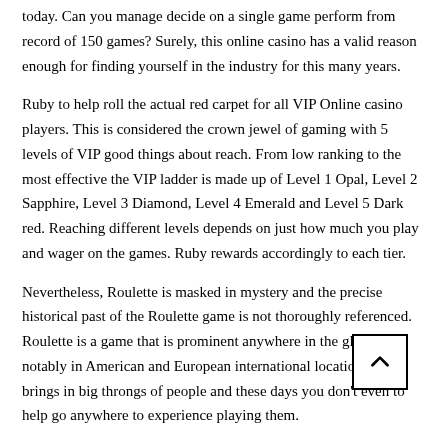today. Can you manage decide on a single game perform from record of 150 games? Surely, this online casino has a valid reason enough for finding yourself in the industry for this many years.
Ruby to help roll the actual red carpet for all VIP Online casino players. This is considered the crown jewel of gaming with 5 levels of VIP good things about reach. From low ranking to the most effective the VIP ladder is made up of Level 1 Opal, Level 2 Sapphire, Level 3 Diamond, Level 4 Emerald and Level 5 Dark red. Reaching different levels depends on just how much you play and wager on the games. Ruby rewards accordingly to each tier.
Nevertheless, Roulette is masked in mystery and the precise historical past of the Roulette game is not thoroughly referenced. Roulette is a game that is prominent anywhere in the globe, notably in American and European international locations. It brings in big throngs of people and these days you don't even to help go anywhere to experience playing them.
One involving bonus I am going to always benefit from of can be a cash